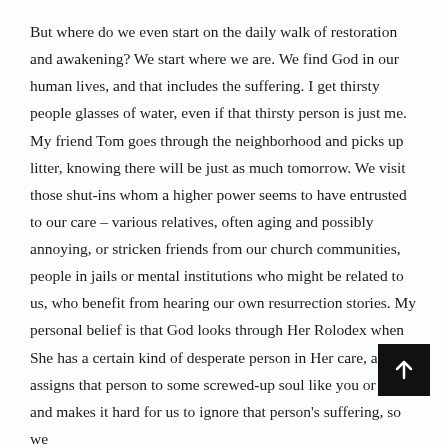But where do we even start on the daily walk of restoration and awakening? We start where we are. We find God in our human lives, and that includes the suffering. I get thirsty people glasses of water, even if that thirsty person is just me. My friend Tom goes through the neighborhood and picks up litter, knowing there will be just as much tomorrow. We visit those shut-ins whom a higher power seems to have entrusted to our care – various relatives, often aging and possibly annoying, or stricken friends from our church communities, people in jails or mental institutions who might be related to us, who benefit from hearing our own resurrection stories. My personal belief is that God looks through Her Rolodex when She has a certain kind of desperate person in Her care, and assigns that person to some screwed-up soul like you or me, and makes it hard for us to ignore that person's suffering, so we